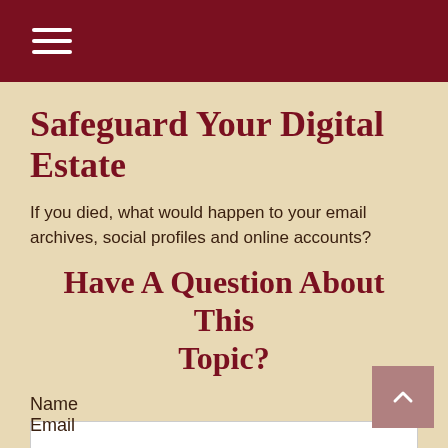≡ (hamburger menu)
Safeguard Your Digital Estate
If you died, what would happen to your email archives, social profiles and online accounts?
Have A Question About This Topic?
Name
Email